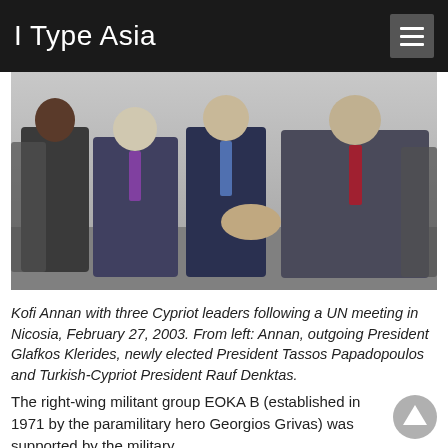I Type Asia
[Figure (photo): Kofi Annan with three Cypriot leaders shaking hands following a UN meeting in Nicosia, February 27, 2003. Group of men in suits standing outdoors.]
Kofi Annan with three Cypriot leaders following a UN meeting in Nicosia, February 27, 2003. From left: Annan, outgoing President Glafkos Klerides, newly elected President Tassos Papadopoulos and Turkish-Cypriot President Rauf Denktas.
The right-wing militant group EOKA B (established in 1971 by the paramilitary hero Georgios Grivas) was supported by the military